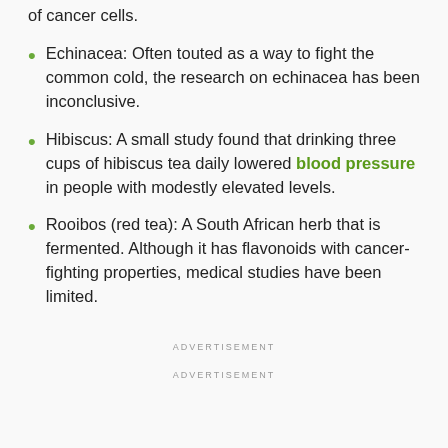of cancer cells.
Echinacea: Often touted as a way to fight the common cold, the research on echinacea has been inconclusive.
Hibiscus: A small study found that drinking three cups of hibiscus tea daily lowered blood pressure in people with modestly elevated levels.
Rooibos (red tea): A South African herb that is fermented. Although it has flavonoids with cancer-fighting properties, medical studies have been limited.
ADVERTISEMENT
ADVERTISEMENT